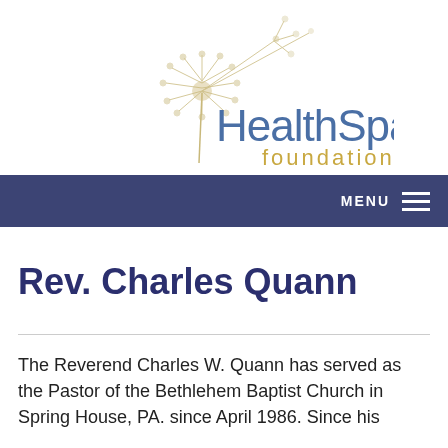[Figure (logo): HealthSpark Foundation logo with dandelion illustration. Text reads 'HealthSpark' in steel blue and 'foundation' in gold/tan below.]
MENU ≡
Rev. Charles Quann
The Reverend Charles W. Quann has served as the Pastor of the Bethlehem Baptist Church in Spring House, PA. since April 1986. Since his